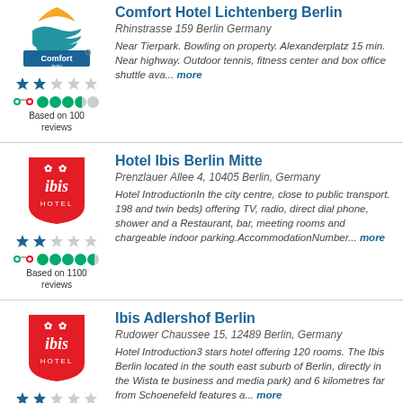[Figure (logo): Comfort Inn hotel logo]
Comfort Hotel Lichtenberg Berlin
Rhinstrasse 159 Berlin Germany
Near Tierpark. Bowling on property. Alexanderplatz 15 min. Near highway. Outdoor tennis, fitness center and box office shuttle ava... more
Based on 100 reviews
[Figure (logo): Ibis Hotel logo]
Hotel Ibis Berlin Mitte
Prenzlauer Allee 4, 10405 Berlin, Germany
Hotel IntroductionIn the city centre, close to public transport. 198 and twin beds) offering TV, radio, direct dial phone, shower and a Restaurant, bar, meeting rooms and chargeable indoor parking.AccommodationNumber... more
Based on 1100 reviews
[Figure (logo): Ibis Hotel logo]
Ibis Adlershof Berlin
Rudower Chaussee 15, 12489 Berlin, Germany
Hotel Introduction3 stars hotel offering 120 rooms. The Ibis Berlin located in the south east suburb of Berlin, directly in the Wista te business and media park) and 6 kilometres far from Schoenefeld features a... more
Based on 50 reviews
[Figure (logo): Ibis Hotel logo]
Ibis Berlin City Ost
An Der Schillingbrucke 2, 10243 Berlin, Germany
Hotel IntroductionLocated on the Spree river and only 300m from...